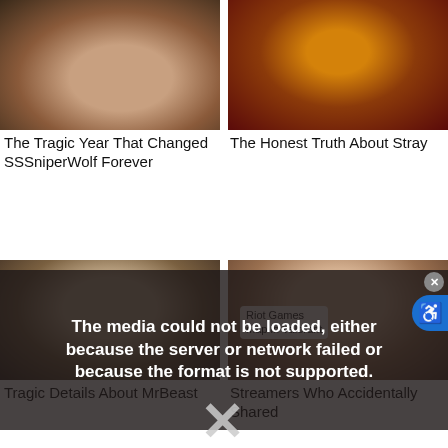[Figure (photo): Close-up photo of a young woman with glasses and a choker necklace (SSSniperwolf)]
[Figure (photo): Close-up photo of a cat with glowing eyes on a red background (Stray game art)]
The Tragic Year That Changed SSSniperWolf Forever
The Honest Truth About Stray
[Figure (photo): Photo of a young man (MrBeast)]
[Figure (photo): Photo of a young woman streamer]
[Figure (screenshot): Media error overlay: The media could not be loaded, either because the server or network failed or because the format is not supported. Shows Riot Games map in Valorant label and X close symbol.]
Tragic Details About MrBeast
Streamers Who Accidentally Shared